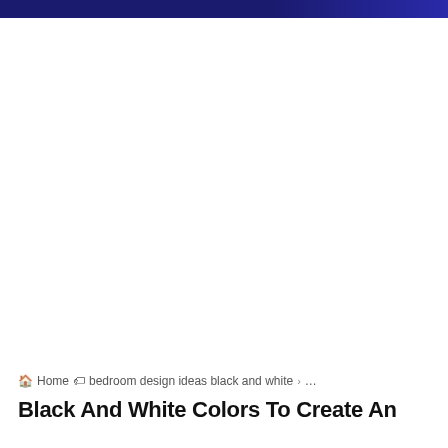🏠 Home  🏷 bedroom design ideas black and white  >  ...
Black And White Colors To Create An